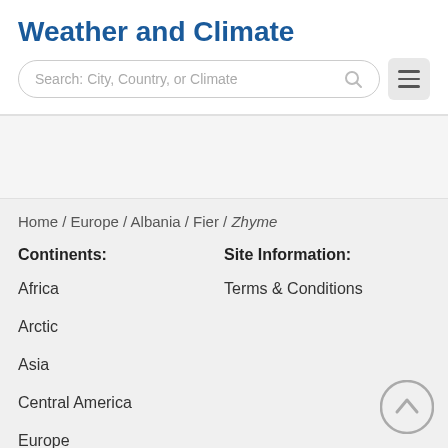Weather and Climate
Search: City, Country, or Climate
Home / Europe / Albania / Fier / Zhyme
Continents:
Site Information:
Africa
Terms & Conditions
Arctic
Asia
Central America
Europe